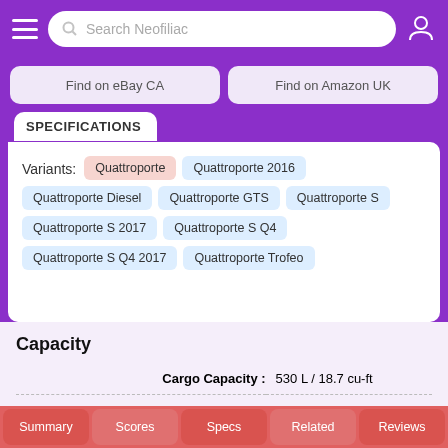Search Neofiliac
Find on eBay CA | Find on Amazon UK
Specifications
Variants: Quattroporte | Quattroporte 2016 | Quattroporte Diesel | Quattroporte GTS | Quattroporte S | Quattroporte S 2017 | Quattroporte S Q4 | Quattroporte S Q4 2017 | Quattroporte Trofeo
Capacity
| Specification | Value |
| --- | --- |
| Cargo Capacity | 530 L / 18.7 cu-ft |
| Coolant Capacity | 14.2 L / 15.0 qt |
| Engine Oil Capacity | 8.3 L / 8.8 qt |
| Fuel Capacity (Quattroporte) | 80.0 L / 21.1 gal |
| Passengers | 5 |
Summary | Scores | Specs | Related | Reviews